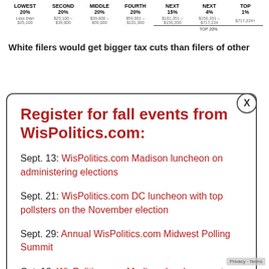| LOWEST 20% | SECOND 20% | MIDDLE 20% | FOURTH 20% | NEXT 15% | NEXT 4% | TOP 1% |
| --- | --- | --- | --- | --- | --- | --- |
| Less than $25,100 | $25,100 – $39,800 | $39,800 – $59,000 | $59,001 – $101,360 | $101,351 – $156,350 | $156,351 – $717,224 | $717,224+ |
White filers would get bigger tax cuts than filers of other
Register for fall events from WisPolitics.com:
Sept. 13: WisPolitics.com Madison luncheon on administering elections
Sept. 21: WisPolitics.com DC luncheon with top pollsters on the November election
Sept. 29: Annual WisPolitics.com Midwest Polling Summit
Oct. 18: WisPolitics.com Madison luncheon on top legislative races
races and ethnicities. White filers would get a tax cut ($2,394) more than three times as large in dollar amou... as